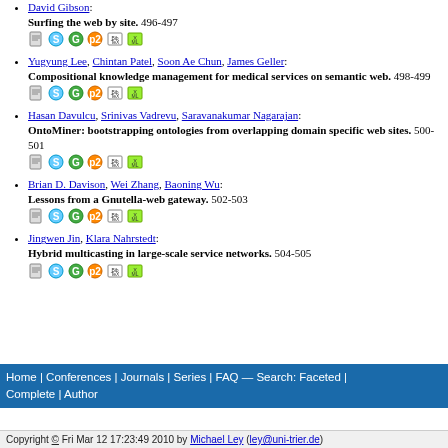David Gibson: Surfing the web by site. 496-497
Yugyung Lee, Chintan Patel, Soon Ae Chun, James Geller: Compositional knowledge management for medical services on semantic web. 498-499
Hasan Davulcu, Srinivas Vadrevu, Saravanakumar Nagarajan: OntoMiner: bootstrapping ontologies from overlapping domain specific web sites. 500-501
Brian D. Davison, Wei Zhang, Baoning Wu: Lessons from a Gnutella-web gateway. 502-503
Jingwen Jin, Klara Nahrstedt: Hybrid multicasting in large-scale service networks. 504-505
Home | Conferences | Journals | Series | FAQ — Search: Faceted | Complete | Author
Copyright © Fri Mar 12 17:23:49 2010 by Michael Ley (ley@uni-trier.de)